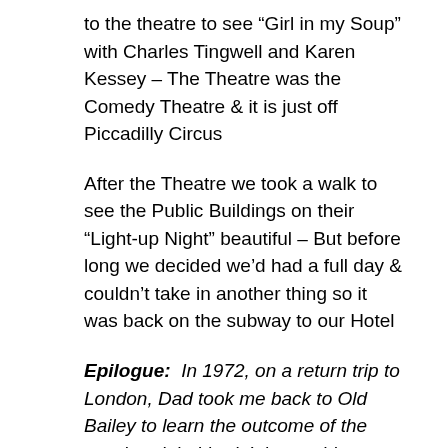to the theatre to see “Girl in my Soup” with Charles Tingwell and Karen Kessey – The Theatre was the Comedy Theatre & it is just off Piccadilly Circus
After the Theatre we took a walk to see the Public Buildings on their “Light-up Night” beautiful – But before long we decided we’d had a full day & couldn’t take in another thing so it was back on the subway to our Hotel
Epilogue: In 1972, on a return trip to London, Dad took me back to Old Bailey to learn the outcome of the murder trial. I hadn’t been able to get the girl accused of stabbing her boyfriend out of my mind. As I was transcribing this entry, I realized I didn’t remember what we found out – only that we visited a